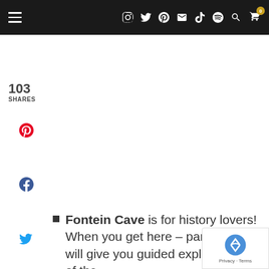Navigation bar with hamburger menu and social icons
103 SHARES
[Figure (other): Pinterest share icon (red P)]
[Figure (other): Facebook share icon (dark blue f)]
[Figure (other): Twitter share icon (blue bird)]
[Figure (other): Email share icon (green envelope)]
Fontein Cave is for history lovers! When you get here – park rangers will give you guided explanations of the